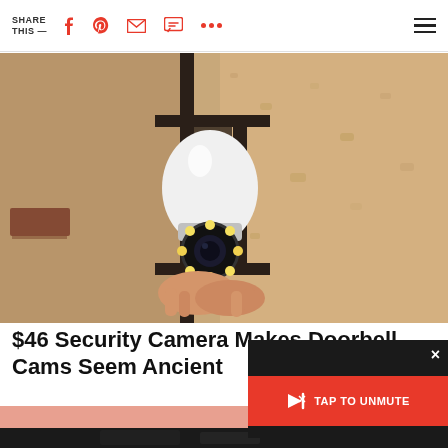SHARE THIS —  [social icons: Facebook, Pinterest, Email, Message, More, Menu]
[Figure (photo): A hand holding a white security camera bulb installed in an outdoor wall-mounted black lantern light fixture against a beige textured stucco wall.]
$46 Security Camera Makes Doorbell Cams Seem Ancient
HomeGuarder | Sponsored
[Figure (screenshot): Video player overlay with red 'TAP TO UNMUTE' button and close X button on dark background.]
[Figure (photo): Bottom strip showing partial image with pink/skin tones and black element at bottom of page.]